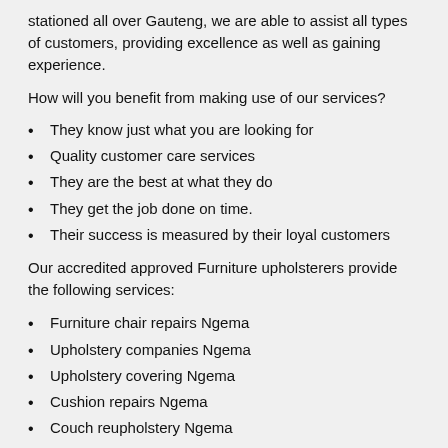stationed all over Gauteng, we are able to assist all types of customers, providing excellence as well as gaining experience.
How will you benefit from making use of our services?
They know just what you are looking for
Quality customer care services
They are the best at what they do
They get the job done on time.
Their success is measured by their loyal customers
Our accredited approved Furniture upholsterers provide the following services:
Furniture chair repairs Ngema
Upholstery companies Ngema
Upholstery covering Ngema
Cushion repairs Ngema
Couch reupholstery Ngema
Furniture restoration Ngema
Furniture reupholstery Ngema
Leather upholsterers Ngema
Leather restoration Ngema
Slip covers Ngema
Upholstery specialists Ngema
Upholsterers Ngema
Furniture upholsterers Ngema
Upholstery company Ngema